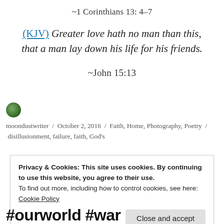~1 Corinthians 13: 4-7
(KJV) Greater love hath no man than this, that a man lay down his life for his friends.
~John 15:13
moondustwriter / October 2, 2016 / Faith, Home, Photography, Poetry / disillusionment, failure, faith, God's
Privacy & Cookies: This site uses cookies. By continuing to use this website, you agree to their use.
To find out more, including how to control cookies, see here:
Cookie Policy
#ourworld #war